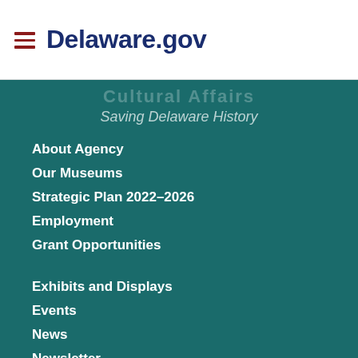Delaware.gov
Saving Delaware History
About Agency
Our Museums
Strategic Plan 2022–2026
Employment
Grant Opportunities
Exhibits and Displays
Events
News
Newsletter
Contact
FOIA Requests